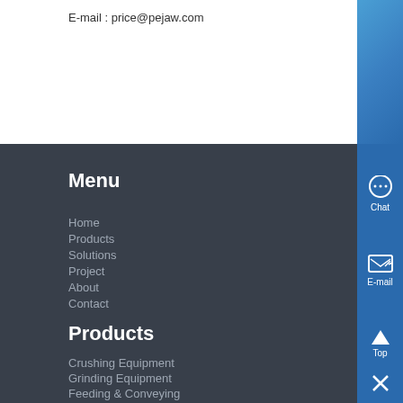E-mail : price@pejaw.com
Menu
Home
Products
Solutions
Project
About
Contact
Products
Crushing Equipment
Grinding Equipment
Feeding & Conveying
Screening & Washing
Portable & Mobile
Beneficiation Equipment